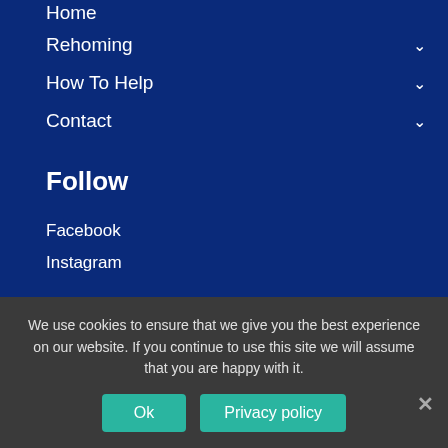Home
Rehoming
How To Help
Contact
Follow
Facebook
Instagram
Follow us on Facebook and Instagram for updates on animals available for adoption, and our latest news and
We use cookies to ensure that we give you the best experience on our website. If you continue to use this site we will assume that you are happy with it.